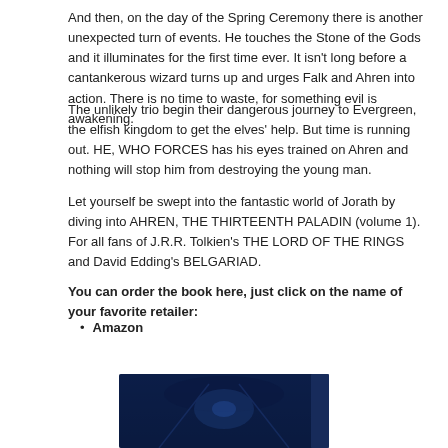And then, on the day of the Spring Ceremony there is another unexpected turn of events. He touches the Stone of the Gods and it illuminates for the first time ever. It isn't long before a cantankerous wizard turns up and urges Falk and Ahren into action. There is no time to waste, for something evil is awakening.
The unlikely trio begin their dangerous journey to Evergreen, the elfish kingdom to get the elves' help. But time is running out. HE, WHO FORCES has his eyes trained on Ahren and nothing will stop him from destroying the young man.
Let yourself be swept into the fantastic world of Jorath by diving into AHREN, THE THIRTEENTH PALADIN (volume 1). For all fans of J.R.R. Tolkien's THE LORD OF THE RINGS and David Edding's BELGARIAD.
You can order the book here, just click on the name of your favorite retailer:
Amazon
[Figure (photo): Bottom portion of a book cover for Ahren, The Thirteenth Paladin, showing a dark blue fantasy scene]